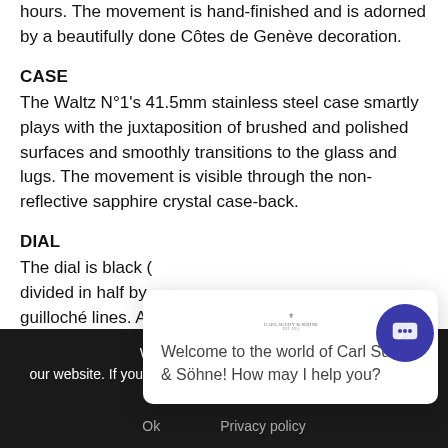hours. The movement is hand-finished and is adorned by a beautifully done Côtes de Genève decoration.
CASE
The Waltz N°1's 41.5mm stainless steel case smartly plays with the juxtaposition of brushed and polished surfaces and smoothly transitions to the glass and lugs. The movement is visible through the non-reflective sapphire crystal case-back.
DIAL
The dial is black ( divided in half by guilloché lines. A rotating seconds
Welcome to the world of Carl Suchy & Söhne! How may I help you?
We use cookies to ensure t our website. If you continue to use this site we will assume that you are happy with it.
Ok   Privacy policy